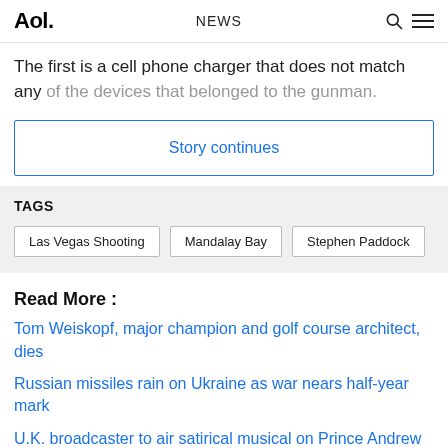Aol. NEWS
The first is a cell phone charger that does not match any of the devices that belonged to the gunman.
Story continues
TAGS
Las Vegas Shooting
Mandalay Bay
Stephen Paddock
Read More :
Tom Weiskopf, major champion and golf course architect, dies
Russian missiles rain on Ukraine as war nears half-year mark
U.K. broadcaster to air satirical musical on Prince Andrew